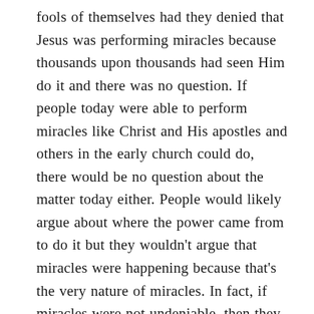fools of themselves had they denied that Jesus was performing miracles because thousands upon thousands had seen Him do it and there was no question. If people today were able to perform miracles like Christ and His apostles and others in the early church could do, there would be no question about the matter today either. People would likely argue about where the power came from to do it but they wouldn't argue that miracles were happening because that's the very nature of miracles. In fact, if miracles were not undeniable, then they would not serve their divine purpose which leads us to the next portion of our study which is WHY